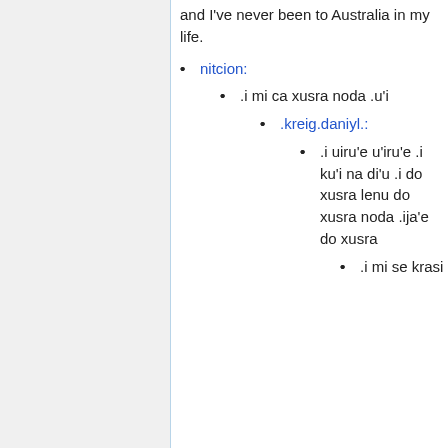and I've never been to Australia in my life.
nitcion:
.i mi ca xusra noda .u'i
.kreig.daniyl.:
.i uiru'e u'iru'e .i ku'i na di'u .i do xusra lenu do xusra noda .ija'e do xusra
.i mi se krasi